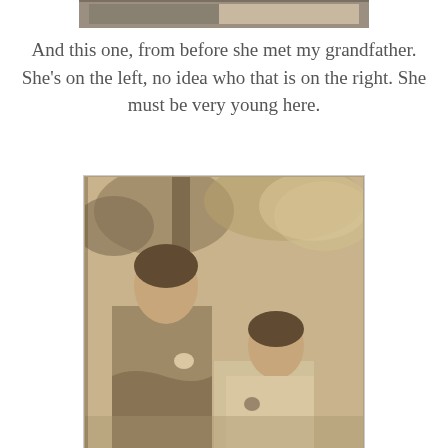[Figure (photo): Partial top edge of a sepia photograph visible at the top of the page]
And this one, from before she met my grandfather. She's on the left, no idea who that is on the right. She must be very young here.
[Figure (photo): Vintage sepia photograph of two young women standing outdoors. The woman on the left is taller and wears a patterned jacket and skirt. The woman on the right is shorter and wears a light-colored dress with a corsage. Trees are visible in the background.]